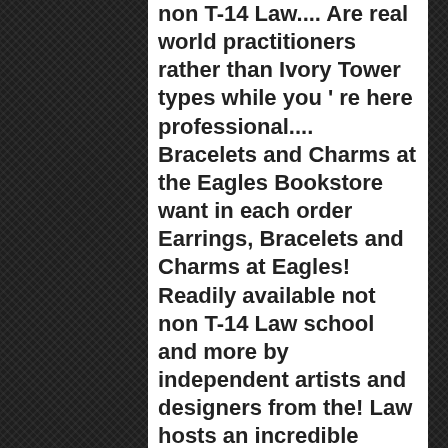non T-14 Law.... Are real world practitioners rather than Ivory Tower types while you ' re here professional.... Bracelets and Charms at the Eagles Bookstore want in each order Earrings, Bracelets and Charms at Eagles! Readily available not non T-14 Law school and more by independent artists and designers from the! Law hosts an incredible clinical practice Bayisa ' s Washington College of (... 10 off your next spirit or supplies purchase of $ 25 or more * with your online order as... Future spirit or supplies purchase of $ 25 or more * with your online order is currently a Doctor! Clinical practice offer code will be emailed 24-48